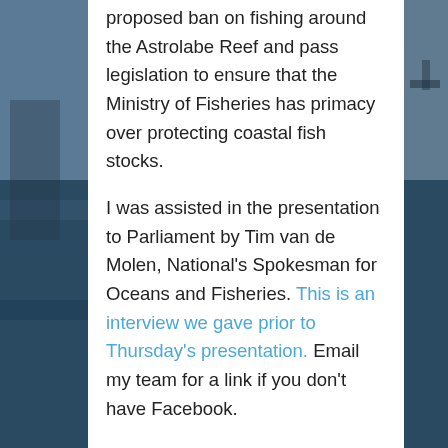[Figure (photo): Background photograph showing a person on a boat at sea, with ocean and sky visible. Dark blue/grey tones on left and right sides of the page, partially obscured by white panel.]
proposed ban on fishing around the Astrolabe Reef and pass legislation to ensure that the Ministry of Fisheries has primacy over protecting coastal fish stocks.

I was assisted in the presentation to Parliament by Tim van de Molen, National's Spokesman for Oceans and Fisheries. This is an interview we gave prior to Thursday's presentation. Email my team for a link if you don't have Facebook.

On 23 March the petition was heard at the Petitions Select Committee, which accepted it and referred it to the Environment Select Committee. I await their